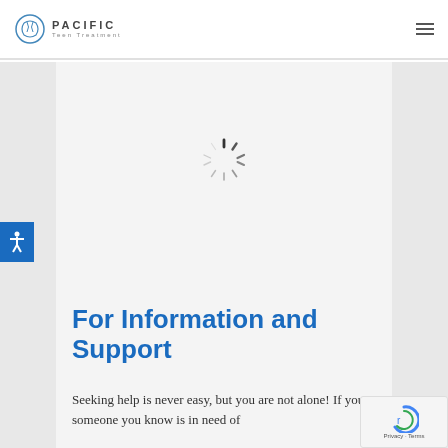PACIFIC Teen Treatment
[Figure (other): Loading spinner (circular dashed spinner icon) centered in a light gray content area]
For Information and Support
Seeking help is never easy, but you are not alone! If you or someone you know is in need of